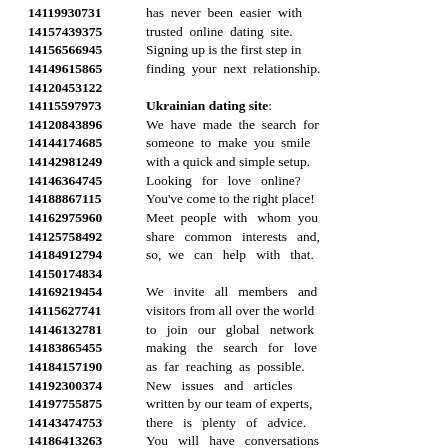14119930731 has never been easier with
14157439375 trusted online dating site.
14156566945 Signing up is the first step in
14149615865 finding your next relationship.
14120453122
14115597973 Ukrainian dating site:
14120843896 We have made the search for
14144174685 someone to make you smile
14142981249 with a quick and simple setup.
14146364745 Looking for love online?
14188867115 You've come to the right place!
14162975960 Meet people with whom you
14125758492 share common interests and,
14184912794 so, we can help with that.
14150174834
14169219454 We invite all members and
14115627741 visitors from all over the world
14146132781 to join our global network
14183865455 making the search for love
14184157190 as far reaching as possible.
14192300374 New issues and articles
14197755875 written by our team of experts,
14143474753 there is plenty of advice.
14186413263 You will have conversations
14149831445 that are synchronized with